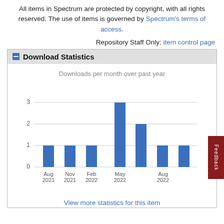All items in Spectrum are protected by copyright, with all rights reserved. The use of items is governed by Spectrum's terms of access.
Repository Staff Only: item control page
Download Statistics
[Figure (bar-chart): Downloads per month over past year]
View more statistics for this item